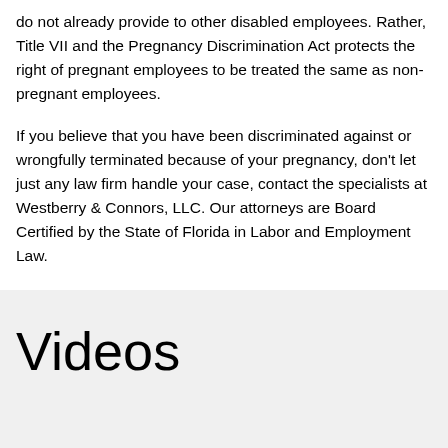do not already provide to other disabled employees. Rather, Title VII and the Pregnancy Discrimination Act protects the right of pregnant employees to be treated the same as non-pregnant employees.
If you believe that you have been discriminated against or wrongfully terminated because of your pregnancy, don't let just any law firm handle your case, contact the specialists at Westberry & Connors, LLC. Our attorneys are Board Certified by the State of Florida in Labor and Employment Law.
Videos